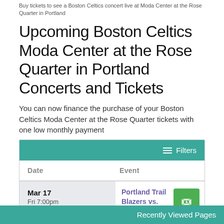Buy tickets to see a Boston Celtics concert live at Moda Center at the Rose Quarter in Portland
Upcoming Boston Celtics Moda Center at the Rose Quarter in Portland Concerts and Tickets
You can now finance the purchase of your Boston Celtics Moda Center at the Rose Quarter tickets with one low monthly payment
| Date | Event |
| --- | --- |
| Mar 17 Fri 7:00pm | Portland Trail Blazers vs. Boston Celtics
Moda Center at the Rose Quarter - Portland, OR |